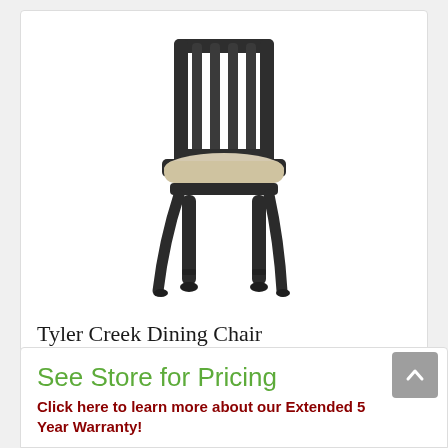[Figure (photo): Tyler Creek Dining Chair product photo — dark charcoal wood frame with slatted back and beige upholstered seat]
Tyler Creek Dining Chair
Signature Design By Ashley D73601
QTY: 2
See Store for Pricing
Click here to learn more about our Extended 5 Year Warranty!